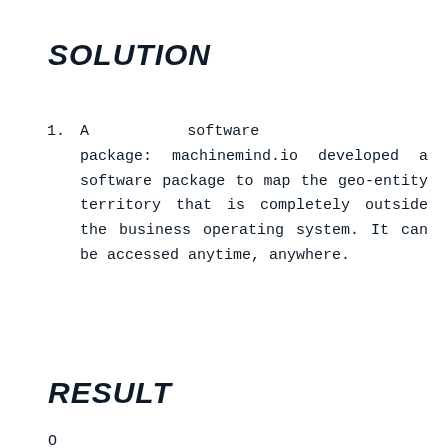SOLUTION
A software package: machinemind.io developed a software package to map the geo-entity territory that is completely outside the business operating system. It can be accessed anytime, anywhere.
RESULT
O...